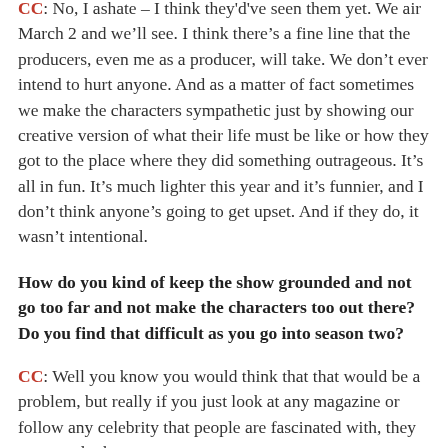CC: No, I ashate – I think they'd've seen them yet. We air March 2 and we'll see. I think there's a fine line that the producers, even me as a producer, will take. We don't ever intend to hurt anyone. And as a matter of fact sometimes we make the characters sympathetic just by showing our creative version of what their life must be like or how they got to the place where they did something outrageous. It's all in fun. It's much lighter this year and it's funnier, and I don't think anyone's going to get upset. And if they do, it wasn't intentional.
How do you kind of keep the show grounded and not go too far and not make the characters too out there? Do you find that difficult as you go into season two?
CC: Well you know you would think that that would be a problem, but really if you just look at any magazine or follow any celebrity that people are fascinated with, they seem to do the